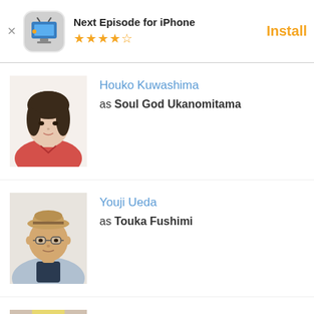[Figure (screenshot): App install banner: Next Episode for iPhone, 4.5 stars, orange Install button]
Houko Kuwashima
as Soul God Ukanomitama
Youji Ueda
as Touka Fushimi
Sayuri Hara